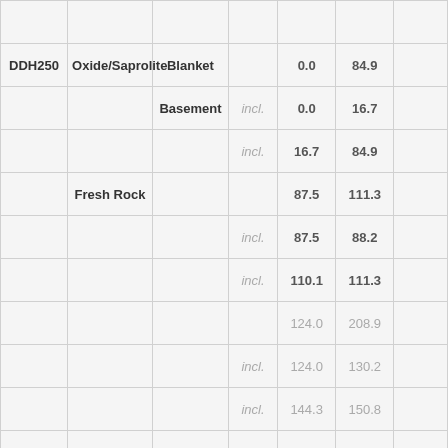|  |  |  |  |  |  |  |
| DDH250 | Oxide/Saprolite | Blanket |  | 0.0 | 84.9 |  |
|  |  | Basement | incl. | 0.0 | 16.7 |  |
|  |  |  | incl. | 16.7 | 84.9 |  |
|  | Fresh Rock |  |  | 87.5 | 111.3 |  |
|  |  |  | incl. | 87.5 | 88.2 |  |
|  |  |  | incl. | 110.1 | 111.3 |  |
|  |  |  |  | 124.0 | 208.9 |  |
|  |  |  | incl. | 124.0 | 130.2 |  |
|  |  |  | incl. | 144.3 | 150.8 |  |
|  |  |  | incl. | 164.4 | 172.0 |  |